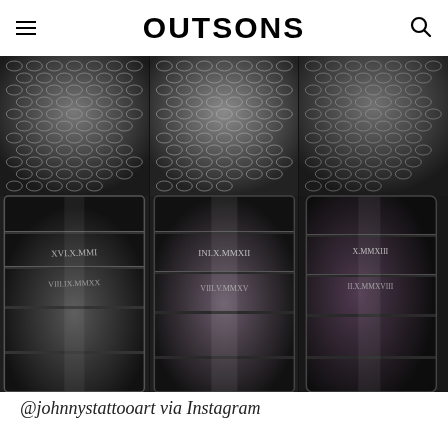OUTSONS
[Figure (photo): Three-panel photo showing a detailed black and grey tattoo sleeve on a forearm, depicting armored gauntlet/bracer design with chainmail pattern at top and segmented plate armor below, with Roman numeral inscriptions. The same tattoo is shown from slightly different angles across the three panels.]
@johnnystattooart via Instagram